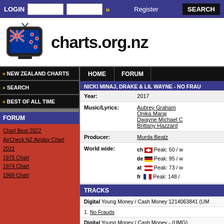LOGIN | Register | SEARCH
charts.org.nz
NEW ZEALAND CHARTS
SEARCH
BEST OF ALL TIME
FORUM
Chart Beat 2022
AirCheck NZ Airplay Chart 2022
1975 Chart
1974 Chart
1969 Chart
HOME | FORUM
NICKI MINAJ, DRAKE & LIL WAYNE - NO FRAU...
| Field | Value |
| --- | --- |
| Year: | 2017 |
| Music/Lyrics: | Aubrey Graham
Onika Maraj
Dwayne Michael C
Brittany Hazzard |
| Producer: | Murda Beatz |
| World wide: | ch Peak: 50 / w
de Peak: 95 / w
at Peak: 73 / w
fr Peak: 148 /
be Tip (Vl)
   Tip (Wa)
se Peak: 94 / w |
TRACKS
Digital Young Money / Cash Money 1214063841 (UM...
1. No Frauds
Digital Young Money / Cash Money - (UMG)